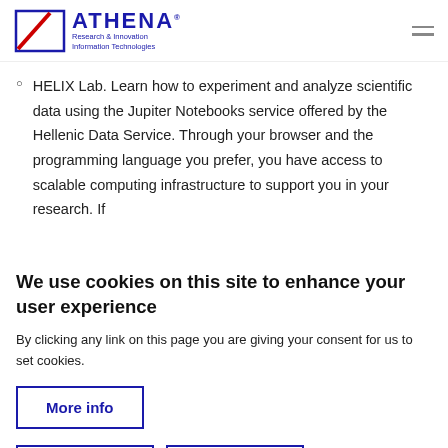[Figure (logo): ATHENA Research & Innovation Information Technologies logo with red and blue geometric mark]
HELIX Lab. Learn how to experiment and analyze scientific data using the Jupiter Notebooks service offered by the Hellenic Data Service. Through your browser and the programming language you prefer, you have access to scalable computing infrastructure to support you in your research. If
We use cookies on this site to enhance your user experience
By clicking any link on this page you are giving your consent for us to set cookies.
More info
OK, I agree
Decline